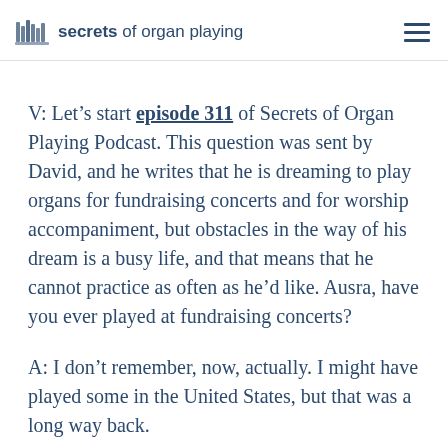secrets of organ playing
V: Let's start episode 311 of Secrets of Organ Playing Podcast. This question was sent by David, and he writes that he is dreaming to play organs for fundraising concerts and for worship accompaniment, but obstacles in the way of his dream is a busy life, and that means that he cannot practice as often as he'd like. Ausra, have you ever played at fundraising concerts?
A: I don't remember, now, actually. I might have played some in the United States, but that was a long way back.
V: I remember playing for Casparini organ in the Holy